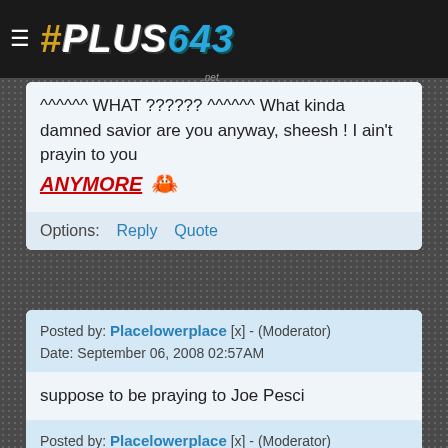#PLUS643 .net
^^^^^^ WHAT ?????? ^^^^^^ What kinda damned savior are you anyway, sheesh ! I ain't prayin to you ANYMORE 🦀
Options: Reply Quote
Posted by: Placelowerplace [x] - (Moderator)
Date: September 06, 2008 02:57AM
suppose to be praying to Joe Pesci
Options: Reply Quote
Posted by: Placelowerplace [x] - (Moderator)